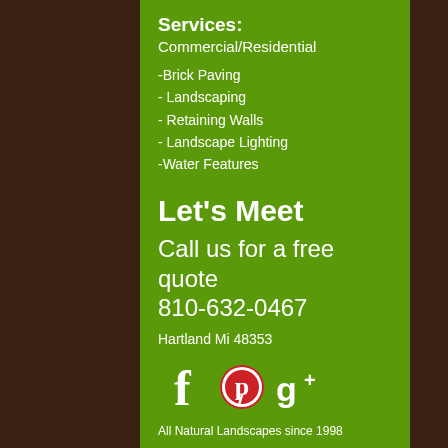Services:
Commercial/Residential
-Brick Paving
- Landscaping
- Retaining Walls
- Landscape Lighting
-Water Features
Let's Meet
Call us for a free quote
810-632-0467
Hartland Mi 48353
[Figure (illustration): Social media icons: Facebook, Pinterest, Google+]
All Natural Landscapes since 1998